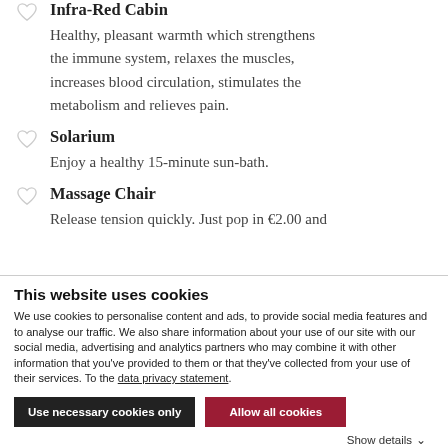Infra-Red Cabin
Healthy, pleasant warmth which strengthens the immune system, relaxes the muscles, increases blood circulation, stimulates the metabolism and relieves pain.
Solarium
Enjoy a healthy 15-minute sun-bath.
Massage Chair
Release tension quickly. Just pop in €2.00 and
This website uses cookies
We use cookies to personalise content and ads, to provide social media features and to analyse our traffic. We also share information about your use of our site with our social media, advertising and analytics partners who may combine it with other information that you've provided to them or that they've collected from your use of their services. To the data privacy statement.
Use necessary cookies only
Allow all cookies
Show details